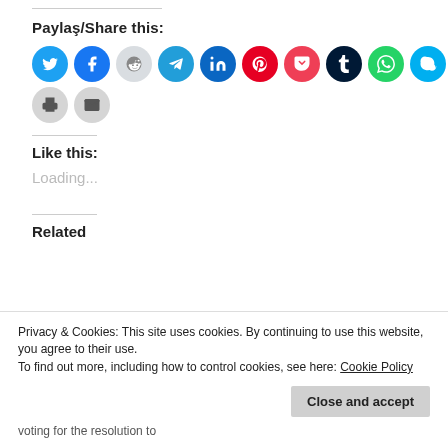Paylaş/Share this:
[Figure (infographic): Row of social media share buttons: Twitter, Facebook, Reddit, Telegram, LinkedIn, Pinterest, Pocket, Tumblr, WhatsApp, Skype, Print, Email]
Like this:
Loading...
Related
Privacy & Cookies: This site uses cookies. By continuing to use this website, you agree to their use. To find out more, including how to control cookies, see here: Cookie Policy
voting for the resolution to